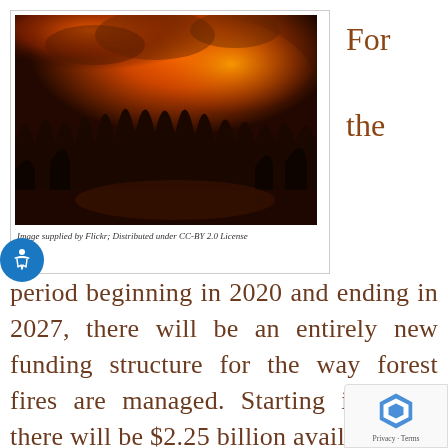[Figure (photo): A wildfire burning intensely in a forested area at night, with large orange and red flames and smoke visible above silhouetted trees.]
Image supplied by Flickr; Distributed under CC-BY 2.0 License
For the
period beginning in 2020 and ending in 2027, there will be an entirely new funding structure for the way forest fires are managed. Starting in 2020, there will be $2.25 billion available to